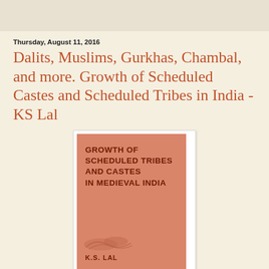Thursday, August 11, 2016
Dalits, Muslims, Gurkhas, Chambal, and more. Growth of Scheduled Castes and Scheduled Tribes in India - KS Lal
[Figure (photo): Book cover of 'Growth of Scheduled Tribes and Castes in Medieval India' by K.S. Lal. Salmon/terracotta colored cover with bold dark red text and author name at bottom.]
The myth of Dalit-Islam unity has been doing the rounds for a few decades now, despite a copious amount of evidence to the